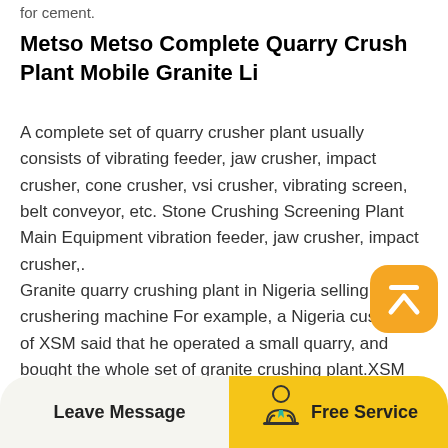for cement.
Metso Metso Complete Quarry Crush Plant Mobile Granite Li
A complete set of quarry crusher plant usually consists of vibrating feeder, jaw crusher, impact crusher, cone crusher, vsi crusher, vibrating screen, belt conveyor, etc. Stone Crushing Screening Plant Main Equipment vibration feeder, jaw crusher, impact crusher,. Granite quarry crushing plant in Nigeria selling quartz crushering machine For example, a Nigeria customer of XSM said that he operated a small quarry, and bought the whole set of granite crushing plant.XSM supplies all kinds crushing plants and design complete set of Granite mining equipment according to the requirements of customers.
[Figure (illustration): Scroll-to-top button: orange/yellow rounded square with upward arrow icon (white lines)]
Leave Message   Free Service